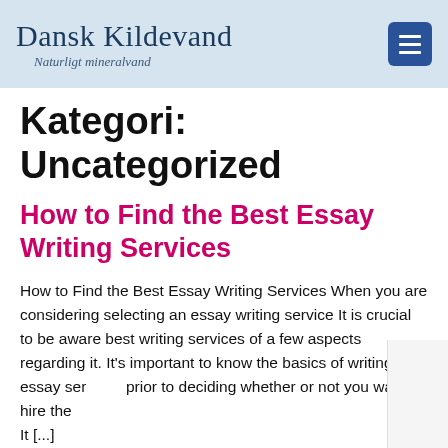Dansk Kildevand – Naturligt mineralvand
Kategori: Uncategorized
How to Find the Best Essay Writing Services
How to Find the Best Essay Writing Services When you are considering selecting an essay writing service It is crucial to be aware best writing services of a few aspects regarding it. It's important to know the basics of writing essay ser... prior to deciding whether or not you want to hire the ... It [...]